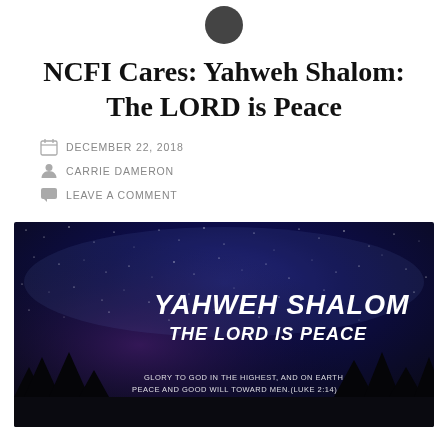[Figure (photo): Small circular logo/avatar at top center, dark gray circle]
NCFI Cares: Yahweh Shalom: The LORD is Peace
DECEMBER 22, 2018
CARRIE DAMERON
LEAVE A COMMENT
[Figure (photo): Night sky photograph with text overlay reading 'YAHWEH SHALOM THE LORD IS PEACE' and smaller text 'Glory to God in the highest, and on earth peace and good will toward men.(Luke 2:14)']